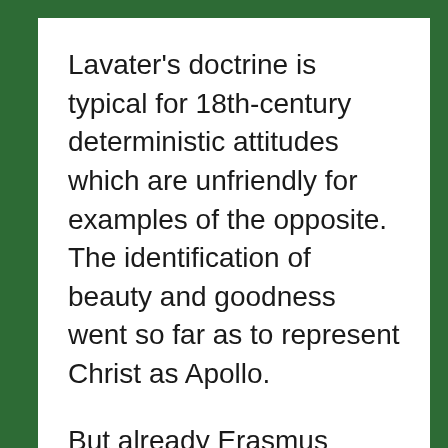Lavater's doctrine is typical for 18th-century deterministic attitudes which are unfriendly for examples of the opposite. The identification of beauty and goodness went so far as to represent Christ as Apollo.
But already Erasmus considered beauty as well as ugliness as deceitful illusions. The Greek saw – pointed Erasmus out-  in the drunken and ugly Silenus on